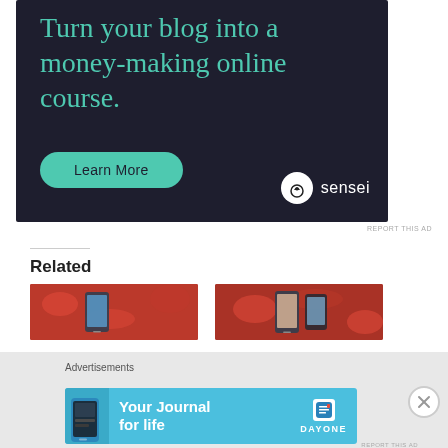[Figure (illustration): Dark navy advertisement banner for Sensei with teal headline text 'Turn your blog into a money-making online course.' and a teal 'Learn More' button, Sensei logo bottom right.]
REPORT THIS AD
Related
[Figure (photo): Related article thumbnail: phone on red lace fabric background, left side]
[Figure (photo): Related article thumbnail: phone on red lace fabric background, right side]
Advertisements
[Figure (illustration): Blue DayOne app advertisement banner: 'Your Journal for life' with phone image and DayOne logo]
REPORT THIS AD